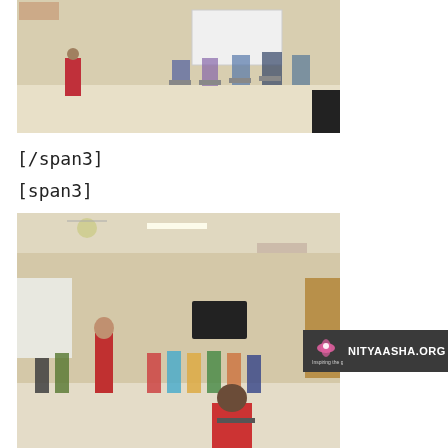[Figure (photo): Indoor scene showing a person in a red jacket standing and speaking to a group of people seated in chairs arranged in a semi-circle in a hall with white walls and a whiteboard in the background.]
[/span3]
[span3]
[Figure (photo): Indoor hall scene showing a bald person in a red shirt standing and presenting to a larger group of people seated in chairs arranged in a circle or semi-circle. A NITYAASHA.ORG watermark/logo is visible in the lower right corner.]